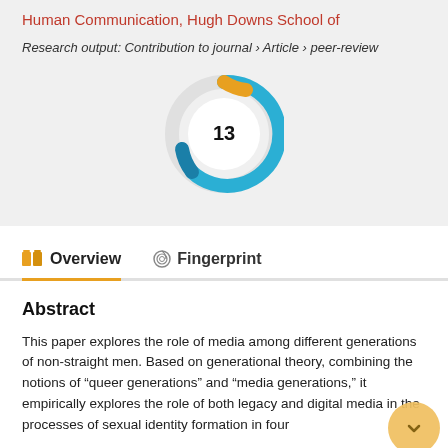Human Communication, Hugh Downs School of
Research output: Contribution to journal › Article › peer-review
[Figure (donut-chart): Altmetric donut-style badge showing citation count of 13, with multi-colored ring in blue, teal, and gold]
Overview
Fingerprint
Abstract
This paper explores the role of media among different generations of non-straight men. Based on generational theory, combining the notions of "queer generations" and "media generations," it empirically explores the role of both legacy and digital media in the processes of sexual identity formation in four